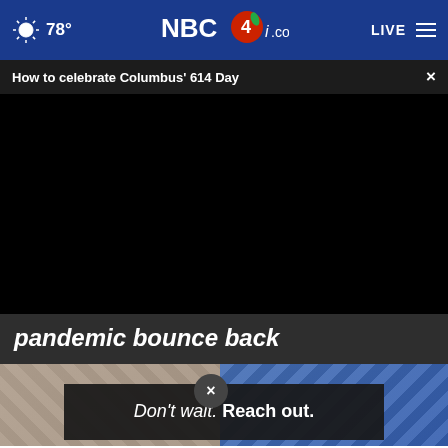NBC4i.com — 78° — LIVE
How to celebrate Columbus' 614 Day
[Figure (screenshot): Black video player area (video loading/black screen)]
pandemic bounce back
[Figure (photo): Two side-by-side photos partially visible at bottom of page, with an ad overlay reading: Don't wait. Reach out.]
Don't wait. Reach out.